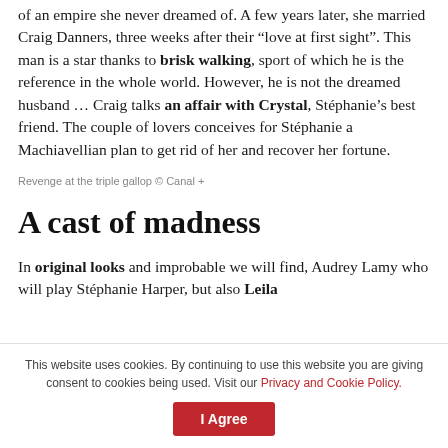of an empire she never dreamed of. A few years later, she married Craig Danners, three weeks after their “love at first sight”. This man is a star thanks to brisk walking, sport of which he is the reference in the whole world. However, he is not the dreamed husband … Craig talks an affair with Crystal, Stéphanie’s best friend. The couple of lovers conceives for Stéphanie a Machiavellian plan to get rid of her and recover her fortune.
Revenge at the triple gallop © Canal +
A cast of madness
In original looks and improbable we will find, Audrey Lamy who will play Stéphanie Harper, but also Leila
This website uses cookies. By continuing to use this website you are giving consent to cookies being used. Visit our Privacy and Cookie Policy.